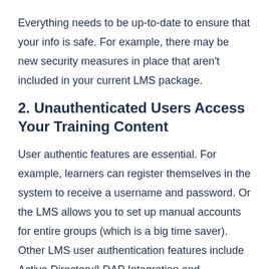Everything needs to be up-to-date to ensure that your info is safe. For example, there may be new security measures in place that aren't included in your current LMS package.
2. Unauthenticated Users Access Your Training Content
User authentic features are essential. For example, learners can register themselves in the system to receive a username and password. Or the LMS allows you to set up manual accounts for entire groups (which is a big time saver). Other LMS user authentication features include Active Directory/LDAP Integration and SAML2/API Integration. You can't have unapproved learners accessing your sensitive training content or viewing info that's above their clearance